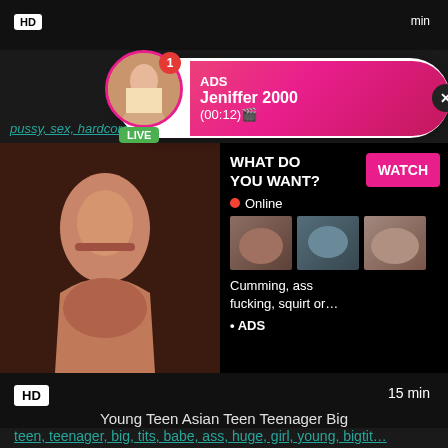[Figure (screenshot): Adult website screenshot with notification popup showing 'ADS Jeniffer 2000 (00:12)' with LIVE badge, top video strip with HD badge]
pussy, sex, hardcore sex, teen sex, teen porn, amateur tee...
[Figure (screenshot): Video thumbnail of woman on left side; ad overlay on right with WHAT DO YOU WANT? / WATCH button / Online indicator / three small thumbnails / Cumming, ass fucking, squirt or... / ADS]
HD  15 min
Young Teen Asian Teen Teenager Big
teen, teenager, big, tits, babe, ass, huge, girl, young, bigtit...